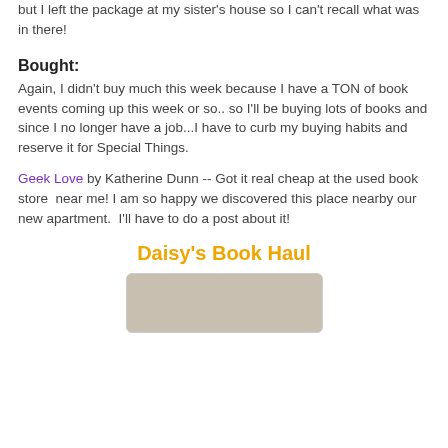but I left the package at my sister's house so I can't recall what was in there!
Bought:
Again, I didn't buy much this week because I have a TON of book events coming up this week or so.. so I'll be buying lots of books and since I no longer have a job...I have to curb my buying habits and reserve it for Special Things.
Geek Love by Katherine Dunn -- Got it real cheap at the used book store  near me! I am so happy we discovered this place nearby our new apartment.  I'll have to do a post about it!
Daisy's Book Haul
[Figure (photo): Photo of a book or book haul item, partially visible, beige/tan colored cover]